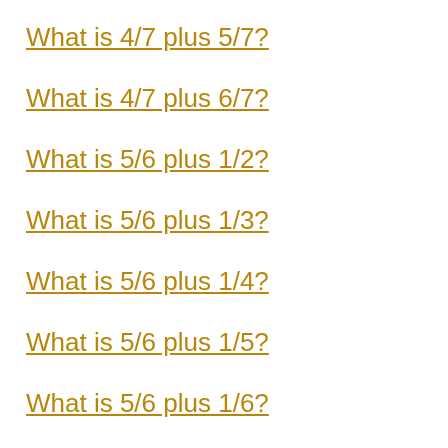What is 4/7 plus 5/7?
What is 4/7 plus 6/7?
What is 5/6 plus 1/2?
What is 5/6 plus 1/3?
What is 5/6 plus 1/4?
What is 5/6 plus 1/5?
What is 5/6 plus 1/6?
What is 5/6 plus 1/7?